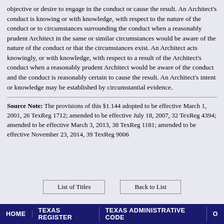objective or desire to engage in the conduct or cause the result. An Architect's conduct is knowing or with knowledge, with respect to the nature of the conduct or to circumstances surrounding the conduct when a reasonably prudent Architect in the same or similar circumstances would be aware of the nature of the conduct or that the circumstances exist. An Architect acts knowingly, or with knowledge, with respect to a result of the Architect's conduct when a reasonably prudent Architect would be aware of the conduct and the conduct is reasonably certain to cause the result. An Architect's intent or knowledge may be established by circumstantial evidence.
Source Note: The provisions of this §1.144 adopted to be effective March 1, 2001, 26 TexReg 1712; amended to be effective July 18, 2007, 32 TexReg 4394; amended to be effective March 3, 2013, 38 TexReg 1181; amended to be effective November 23, 2014, 39 TexReg 9006
HOME | TEXAS REGISTER | TEXAS ADMINISTRATIVE CODE | O